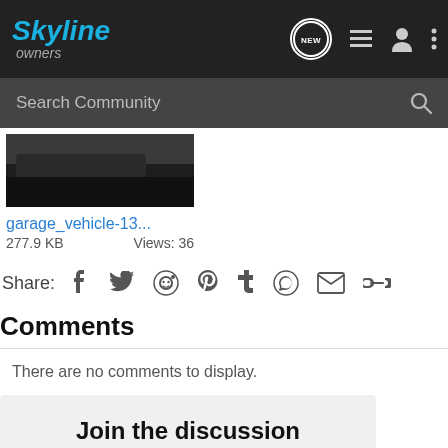Skyline owners
[Figure (screenshot): Search Community input bar with magnifying glass icon]
[Figure (photo): Partial vehicle photo thumbnail showing dark asphalt and car]
garage_vehicle-13...
277.9 KB   Views: 36
Share:
Comments
There are no comments to display.
Join the discussion